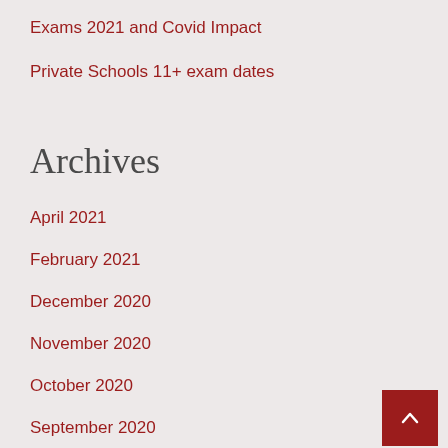Exams 2021 and Covid Impact
Private Schools 11+ exam dates
Archives
April 2021
February 2021
December 2020
November 2020
October 2020
September 2020
July 2020
June 2020